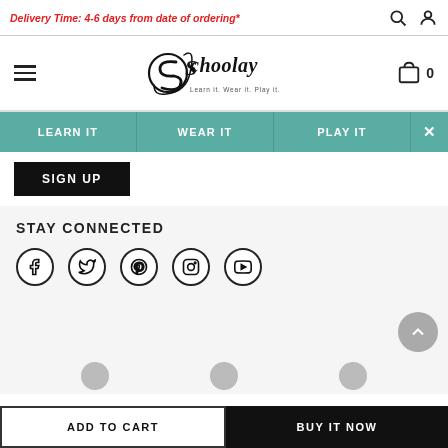Delivery Time: 4-6 days from date of ordering*
[Figure (logo): Schoolay logo — stylized S in a circle with 'Schoolay' script text and tagline 'Learn it. Wear it. Play it.']
LEARN IT  WEAR IT  PLAY IT
SIGN UP
STAY CONNECTED
[Figure (other): Social media icons: Facebook, Twitter, Pinterest, Instagram, YouTube — all circular outlined icons]
ADD TO CART
BUY IT NOW